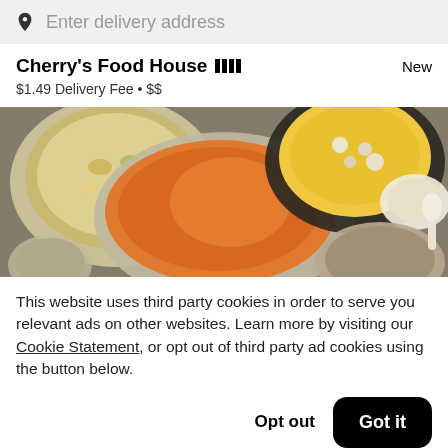Enter delivery address
Cherry's Food House ████
$1.49 Delivery Fee • $$
[Figure (photo): Overhead view of multiple dishes of Asian food on a wooden table including fried rice, a red curry dish, soup with meatballs, and side bowls]
This website uses third party cookies in order to serve you relevant ads on other websites. Learn more by visiting our Cookie Statement, or opt out of third party ad cookies using the button below.
Opt out   Got it